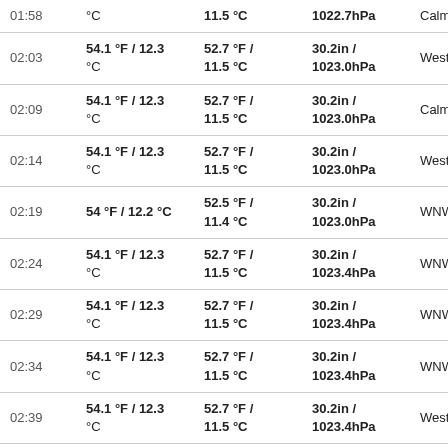| Time | Temp | Dew Point | Pressure | Wind |
| --- | --- | --- | --- | --- |
| 01:58 | °C | 11.5 °C | 1022.7hPa | Calm |
| 02:03 | 54.1 °F / 12.3 °C | 52.7 °F / 11.5 °C | 30.2in / 1023.0hPa | West |
| 02:09 | 54.1 °F / 12.3 °C | 52.7 °F / 11.5 °C | 30.2in / 1023.0hPa | Calm |
| 02:14 | 54.1 °F / 12.3 °C | 52.7 °F / 11.5 °C | 30.2in / 1023.0hPa | West |
| 02:19 | 54 °F / 12.2 °C | 52.5 °F / 11.4 °C | 30.2in / 1023.0hPa | WNW |
| 02:24 | 54.1 °F / 12.3 °C | 52.7 °F / 11.5 °C | 30.2in / 1023.4hPa | WNW |
| 02:29 | 54.1 °F / 12.3 °C | 52.7 °F / 11.5 °C | 30.2in / 1023.4hPa | WNW |
| 02:34 | 54.1 °F / 12.3 °C | 52.7 °F / 11.5 °C | 30.2in / 1023.4hPa | WNW |
| 02:39 | 54.1 °F / 12.3 °C | 52.7 °F / 11.5 °C | 30.2in / 1023.4hPa | West |
| 02:44 | 54.3 °F / 12.4 °C | 52.9 °F / 11.6 °C | 30.2in / 1023.4hPa | Calm |